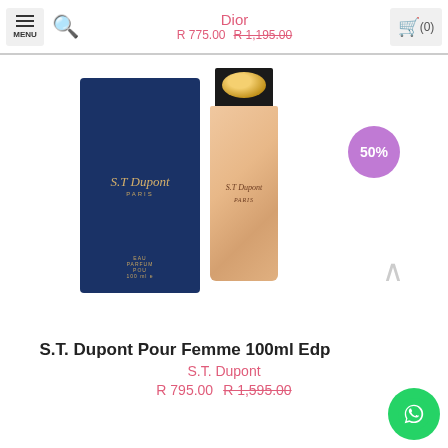Dior
R 775.00  R 1,195.00
[Figure (photo): S.T. Dupont Pour Femme 100ml EDP product photo showing dark navy blue box and peach/gold perfume bottle with gold cap. A 50% discount badge is shown in purple.]
Hi there! How can we help you? Tap here to chat with us.
S.T. Dupont Pour Femme 100ml Edp
S.T. Dupont
R 795.00  R 1,595.00